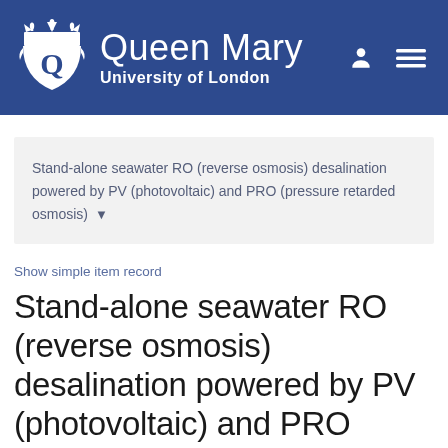[Figure (logo): Queen Mary University of London logo with crown emblem on dark blue header background, with user and menu icons on the right]
Stand-alone seawater RO (reverse osmosis) desalination powered by PV (photovoltaic) and PRO (pressure retarded osmosis)
Show simple item record
Stand-alone seawater RO (reverse osmosis) desalination powered by PV (photovoltaic) and PRO (pressure retarded osmosis)